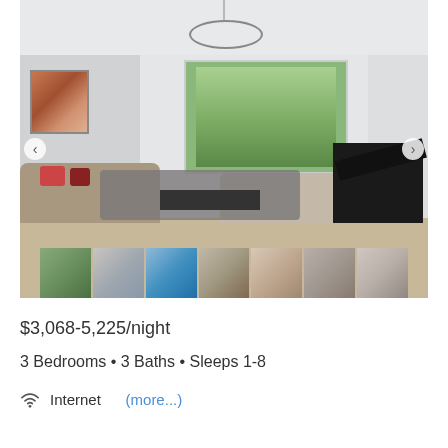[Figure (photo): Interior photo of a luxury living room with gray sofas, red accent pillows, a black grand piano, modern circular chandelier, large windows with greenery outside, hardwood floors, and a gray area rug. Navigation arrows on left and right sides. Below is a thumbnail strip showing 7 smaller photos of different rooms.]
$3,068-5,225/night
3 Bedrooms • 3 Baths • Sleeps 1-8
Internet    (more...)